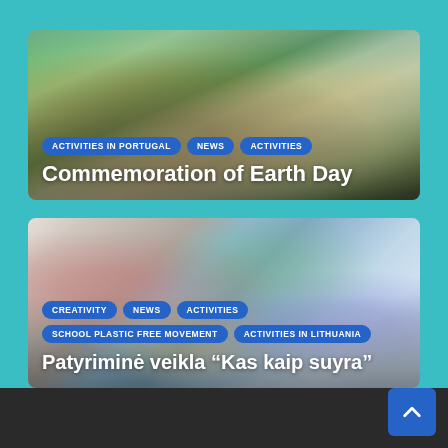[Figure (photo): Outdoor group photo with people in nature, green fields and sky in background. Card image for Commemoration of Earth Day article.]
ACTIVITIES IN PORTUGAL | NEWS | ACTIVITIES
Commemoration of Earth Day
[Figure (photo): Close-up photo of colorful plastic waste and litter. Card image for the Patyriminė veikla article.]
CREATIVITY | NEWS | ACTIVITIES
SCHOOL PLASTIC FREE MOVEMENT | ACTIVITIES IN LITHUANIA
Patyriminė veikla “Kas kaip suyra”